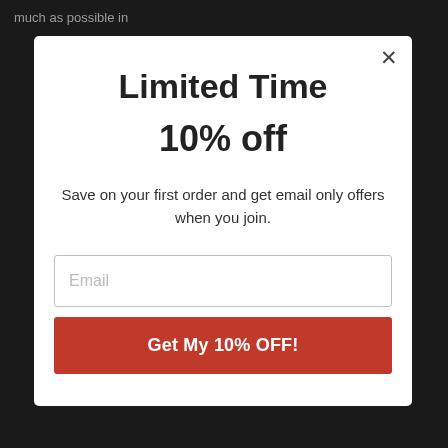much as possible in
Limited Time
10% off
Save on your first order and get email only offers when you join.
Email
Get My 10% OFF!